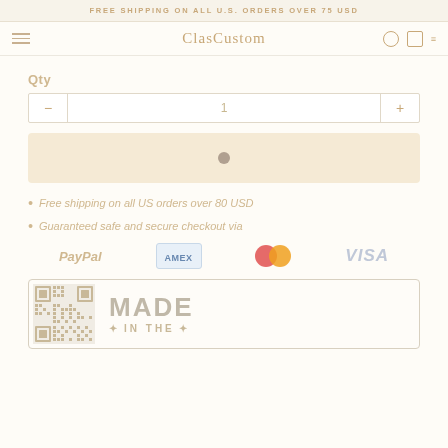FREE SHIPPING ON ALL U.S. ORDERS OVER 75 USD
ClasCustom
Qty
[Figure (screenshot): Quantity selector input with minus and plus buttons, showing value 1]
[Figure (screenshot): Add to cart button (loading state with spinner dot)]
Free shipping on all US orders over 80 USD
Guaranteed safe and secure checkout via
[Figure (logo): Payment logos: PayPal, Amex, Mastercard, Visa]
[Figure (infographic): Made in the USA badge with QR code pattern on left side and MADE / IN THE text on right]